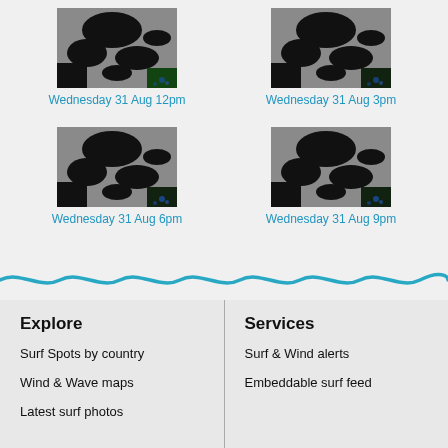[Figure (map): Satellite/radar map of Middle East region at Wednesday 31 Aug 12pm]
Wednesday 31 Aug 12pm
[Figure (map): Satellite/radar map of Middle East region at Wednesday 31 Aug 3pm]
Wednesday 31 Aug 3pm
[Figure (map): Satellite/radar map of Middle East region at Wednesday 31 Aug 6pm]
Wednesday 31 Aug 6pm
[Figure (map): Satellite/radar map of Middle East region at Wednesday 31 Aug 9pm]
Wednesday 31 Aug 9pm
Explore
Surf Spots by country
Wind & Wave maps
Latest surf photos
Services
Surf & Wind alerts
Embeddable surf feed